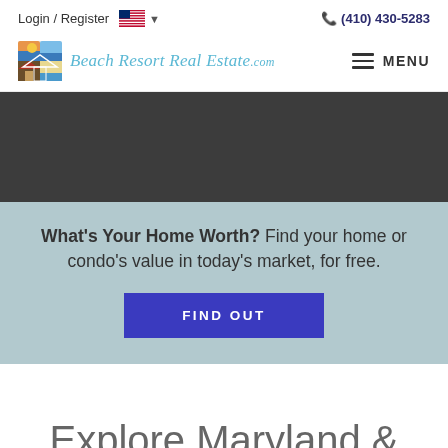Login / Register | (410) 430-5283
[Figure (logo): Beach Resort Real Estate .com logo with house icon and MENU navigation button]
[Figure (photo): Dark grey hero banner background image]
What's Your Home Worth? Find your home or condo's value in today's market, for free.
FIND OUT
Explore Maryland &